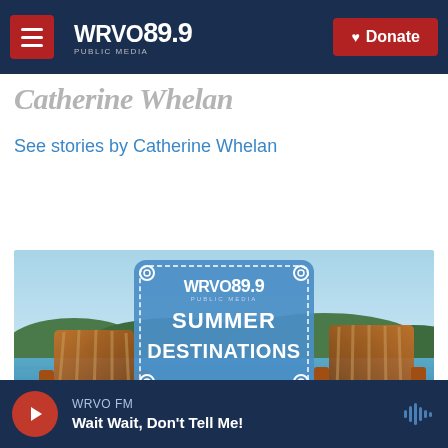WRVO PUBLIC MEDIA 89.9 | Donate
Catherine Whelan
See stories by Catherine Whelan
[Figure (illustration): WRVO Public Media 89.9 Summer Destinations promotional banner with two Adirondack chairs on a lake dock, sky background]
WRVO FM — Wait Wait, Don't Tell Me!